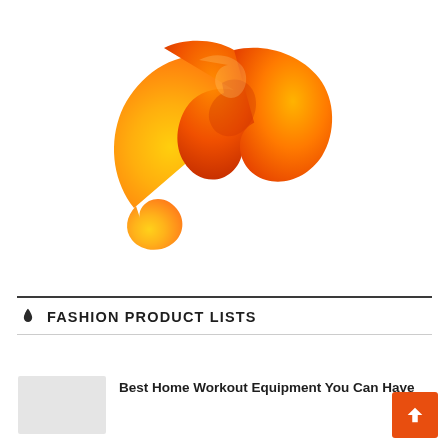[Figure (logo): Orange and yellow stylized M-shaped ribbon logo on white background]
FASHION PRODUCT LISTS
Best Home Workout Equipment You Can Have